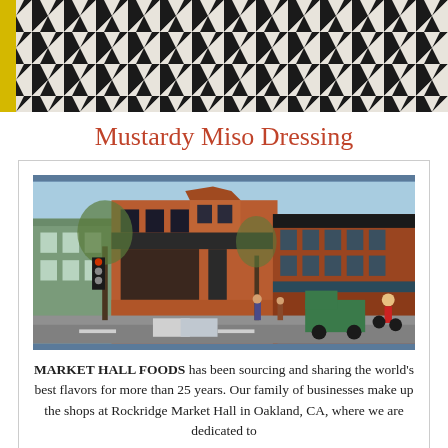[Figure (photo): Black and white geometric quilt pattern with triangles, partially visible at top of page with yellow border trim]
Mustardy Miso Dressing
[Figure (photo): Street-level photograph of Rockridge Market Hall, a large brick building in Oakland CA at a street intersection, with vehicles and pedestrians visible]
MARKET HALL FOODS has been sourcing and sharing the world's best flavors for more than 25 years. Our family of businesses make up the shops at Rockridge Market Hall in Oakland, CA, where we are dedicated to